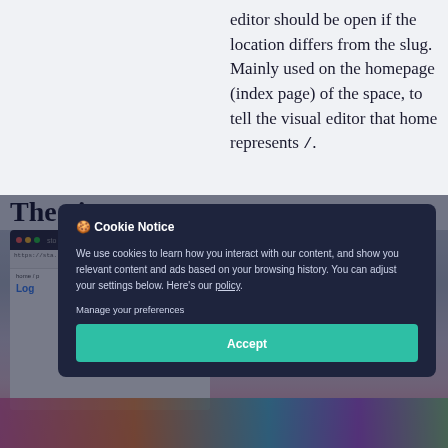editor should be open if the location differs from the slug. Mainly used on the homepage (index page) of the space, to tell the visual editor that home represents /.
The V...
[Figure (screenshot): Screenshot of a web browser showing a documentation or product page with a pink/colorful UI]
🍪 Cookie Notice

We use cookies to learn how you interact with our content, and show you relevant content and ads based on your browsing history. You can adjust your settings below. Here's our policy.

Manage your preferences

Accept